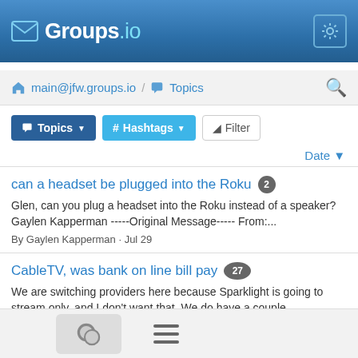Groups.io
main@jfw.groups.io / Topics
Topics  # Hashtags  Filter
Date
can a headset be plugged into the Roku  2
Glen, can you plug a headset into the Roku instead of a speaker? Gaylen Kapperman -----Original Message----- From:...
By Gaylen Kapperman · Jul 29
CableTV, was bank on line bill pay  27
We are switching providers here because Sparklight is going to stream only, and I don't want that. We do have a couple...
By Glenn / Lenny · Jul 29